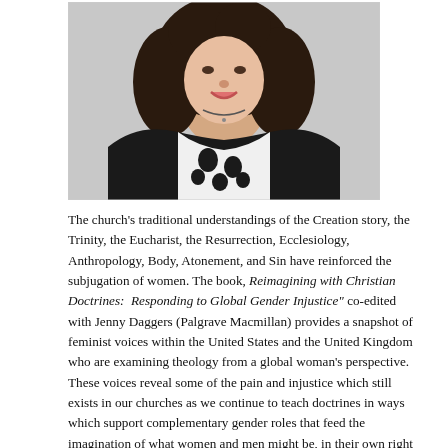[Figure (photo): Portrait photo of a smiling woman with dark curly hair, wearing a black cardigan over a black and white floral top, against a grey background]
The church's traditional understandings of the Creation story, the Trinity, the Eucharist, the Resurrection, Ecclesiology, Anthropology, Body, Atonement, and Sin have reinforced the subjugation of women. The book, Reimagining with Christian Doctrines: Responding to Global Gender Injustice" co-edited with Jenny Daggers (Palgrave Macmillan) provides a snapshot of feminist voices within the United States and the United Kingdom who are examining theology from a global woman's perspective. These voices reveal some of the pain and injustice which still exists in our churches as we continue to teach doctrines in ways which support complementary gender roles that feed the imagination of what women and men might be, in their own right and in relation to one another.
We recognize that gender injustice varies throughout the world.